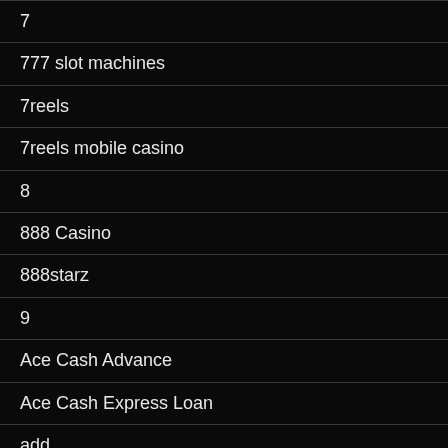7
777 slot machines
7reels
7reels mobile casino
8
888 Casino
888starz
9
Ace Cash Advance
Ace Cash Express Loan
add
adult chat
adult chats